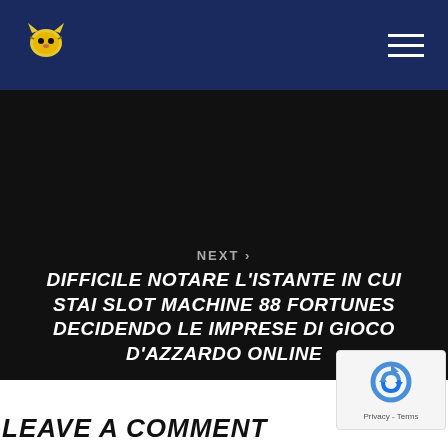Navigation bar with logo and hamburger menu
CLEOPATRA SLOTS DEMO SLOTS SYSTEM GAME TO LEARN ONLINE
NEXT >
DIFFICILE NOTARE L'ISTANTE IN CUI STAI SLOT MACHINE 88 FORTUNES DECIDENDO LE IMPRESE DI GIOCO D'AZZARDO ONLINE
LEAVE A COMMENT
[Figure (other): reCAPTCHA privacy badge with circular arrow icon and Privacy - Terms text]